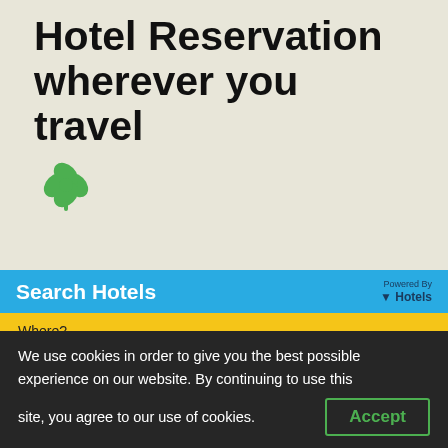Hotel Reservation wherever you travel
[Figure (illustration): Green four-leaf clover icon]
Search Hotels
Powered By Hotels
Where?
e.g. city, region, district or specific hotel
Check-in
Day  Month
We use cookies in order to give you the best possible experience on our website. By continuing to use this site, you agree to our use of cookies.
Accept